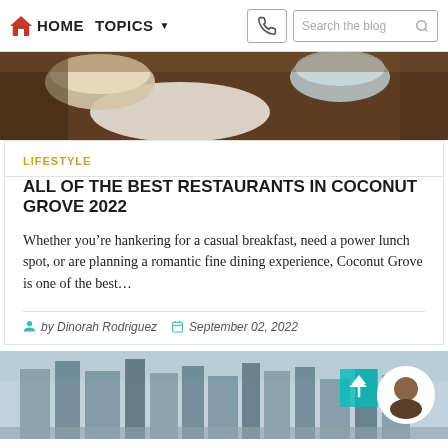HOME  TOPICS  Search the blog
[Figure (photo): Top portion of food/coffee image, dark wooden table with bowls or cups visible]
LIFESTYLE
ALL OF THE BEST RESTAURANTS IN COCONUT GROVE 2022
Whether you’re hankering for a casual breakfast, need a power lunch spot, or are planning a romantic fine dining experience, Coconut Grove is one of the best…
by Dinorah Rodriguez   September 02, 2022
[Figure (photo): City skyline with tall buildings, teal/arrow button overlay, and circular headshot of a man in the bottom right]